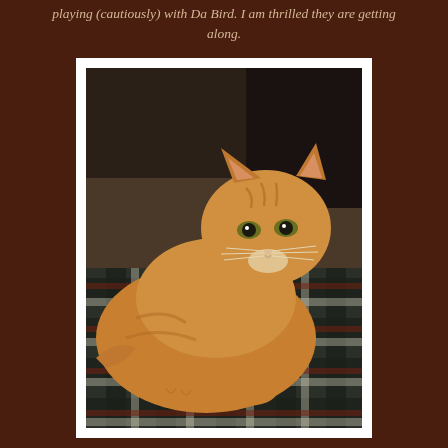playing (cautiously) with Da Bird. I am thrilled they are getting along.
[Figure (photo): An orange tabby cat lying on a plaid blanket, looking at the camera. The cat is loafed with paws tucked under. Background shows dark furniture. The photo has a white border.]